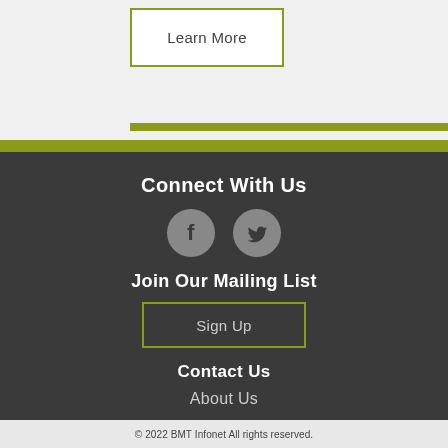Learn More
Connect With Us
[Figure (illustration): Facebook and Twitter social media icon circles in gray]
Join Our Mailing List
Sign Up
Contact Us
About Us
© 2022 BMT Infonet All rights reserved.